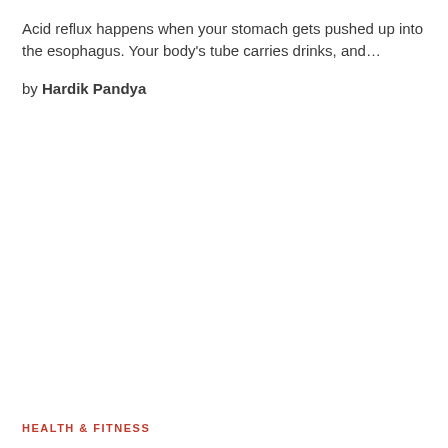Acid reflux happens when your stomach gets pushed up into the esophagus. Your body's tube carries drinks, and…
by Hardik Pandya
HEALTH & FITNESS